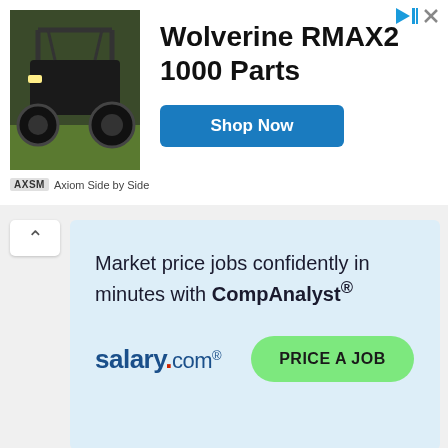[Figure (other): Advertisement banner for Wolverine RMAX2 1000 Parts from Axiom Side by Side, showing an ATV/UTV vehicle photo on the left, bold product title text in the center, and a blue 'Shop Now' button on the right.]
[Figure (other): Advertisement for salary.com CompAnalyst product. Text reads 'Market price jobs confidently in minutes with CompAnalyst®'. Shows salary.com logo and a green 'PRICE A JOB' button on a light blue background.]